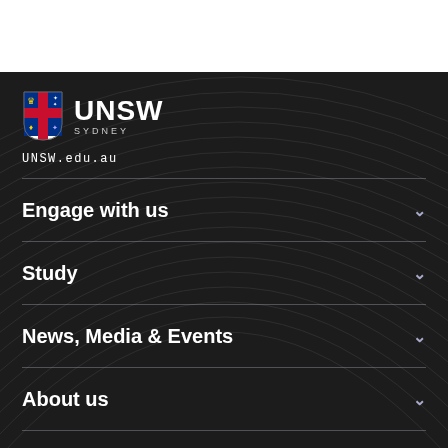[Figure (logo): UNSW Sydney university logo with shield crest and text 'UNSW SYDNEY']
UNSW.edu.au
Engage with us
Study
News, Media & Events
About us